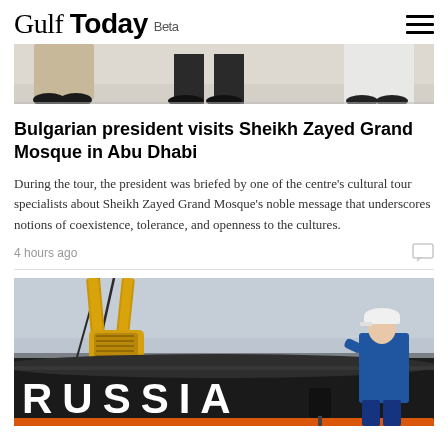Gulf Today Beta
[Figure (photo): Top portion of a photo showing feet/legs of people walking on a light floor]
Bulgarian president visits Sheikh Zayed Grand Mosque in Abu Dhabi
During the tour, the president was briefed by one of the centre's cultural tour specialists about Sheikh Zayed Grand Mosque's noble message that underscores notions of coexistence, tolerance, and openness to the cultures.
4 hours ago
[Figure (photo): Photo of a large black pipeline with the text RUSSIA written in white letters, with yellow crane equipment and blue straps visible, and a person in a blue jacket and white cap standing to the right]